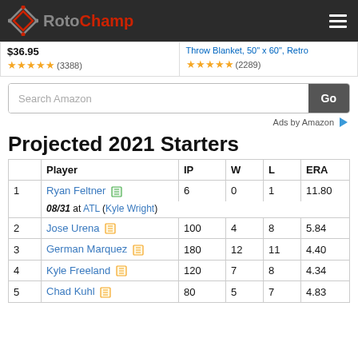RotoChamp
$36.95 ★★★★★ (3388)
Throw Blanket, 50" x 60", Retro ★★★★★ (2289)
Search Amazon | Go | Ads by Amazon
Projected 2021 Starters
|  | Player | IP | W | L | ERA |
| --- | --- | --- | --- | --- | --- |
| 1 | Ryan Feltner | 6 | 0 | 1 | 11.80 |
|  | 08/31 at ATL (Kyle Wright) |  |  |  |  |
| 2 | Jose Urena | 100 | 4 | 8 | 5.84 |
| 3 | German Marquez | 180 | 12 | 11 | 4.40 |
| 4 | Kyle Freeland | 120 | 7 | 8 | 4.34 |
| 5 | Chad Kuhl | 80 | 5 | 7 | 4.83 |